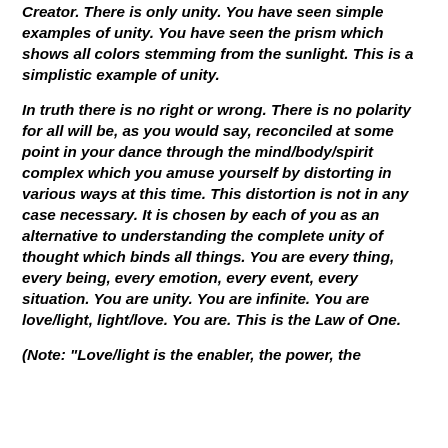Creator. There is only unity. You have seen simple examples of unity. You have seen the prism which shows all colors stemming from the sunlight. This is a simplistic example of unity.
In truth there is no right or wrong. There is no polarity for all will be, as you would say, reconciled at some point in your dance through the mind/body/spirit complex which you amuse yourself by distorting in various ways at this time. This distortion is not in any case necessary. It is chosen by each of you as an alternative to understanding the complete unity of thought which binds all things. You are every thing, every being, every emotion, every event, every situation. You are unity. You are infinite. You are love/light, light/love. You are. This is the Law of One.
(Note: "Love/light is the enabler, the power, the...